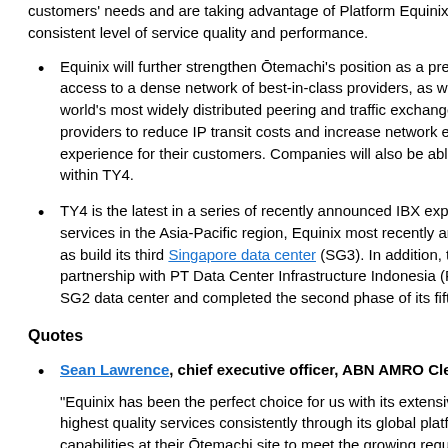customers' needs and are taking advantage of Platform Equinix™ and its consistent level of service quality and performance.
Equinix will further strengthen Ōtemachi's position as a premier network access to a dense network of best-in-class providers, as well as the Equinix world's most widely distributed peering and traffic exchange, will enable providers to reduce IP transit costs and increase network efficiency by eli- experience for their customers. Companies will also be able to establish n- within TY4.
TY4 is the latest in a series of recently announced IBX expansions to add- services in the Asia-Pacific region, Equinix most recently announced plan well as build its third Singapore data center (SG3). In addition, the compa- partnership with PT Data Center Infrastructure Indonesia (PT DCI), annou- SG2 data center and completed the second phase of its fifth IBX facility i-
Quotes
Sean Lawrence, chief executive officer, ABN AMRO Clearing, Tokyo:
"Equinix has been the perfect choice for us with its extensive reach in Asi- the highest quality services consistently through its global platform. We a- capabilities at their Ōtemachi site to meet the growing requirements for ot-